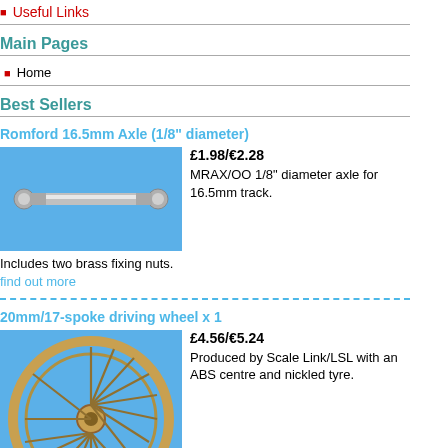Useful Links
Main Pages
Home
Best Sellers
Romford 16.5mm Axle (1/8" diameter)
[Figure (photo): Photo of a metal axle on a blue background]
£1.98/€2.28
MRAX/OO 1/8" diameter axle for 16.5mm track.
Includes two brass fixing nuts.
find out more
20mm/17-spoke driving wheel x 1
[Figure (photo): Photo of a 17-spoke driving wheel on a blue background]
£4.56/€5.24
Produced by Scale Link/LSL with an ABS centre and nickled tyre.
Designed for use with Romford axles. Released: JULY 2011
Diameter of drum is 20mm.